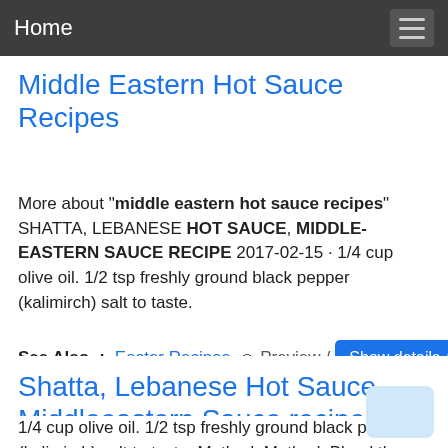Home
Middle Eastern Hot Sauce Recipes
More about "middle eastern hot sauce recipes" SHATTA, LEBANESE HOT SAUCE, MIDDLE-EASTERN SAUCE RECIPE 2017-02-15 · 1/4 cup olive oil. 1/2 tsp freshly ground black pepper (kalimirch) salt to taste.
See Also: Easter Recipes  Preview /  Show details
Shatta, Lebanese Hot Sauce, Middleeastern Sauce recipe
1/4 cup olive oil. 1/2 tsp freshly ground black pepper (kalimirch) salt to taste. Method. Method. Blend the chilli peppers in a mixer to a smooth paste. Add the parsley,